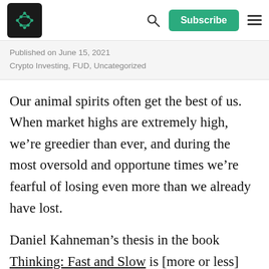Subscribe
Published on June 15, 2021
Crypto Investing, FUD, Uncategorized
Our animal spirits often get the best of us. When market highs are extremely high, we’re greedier than ever, and during the most oversold and opportune times we’re fearful of losing even more than we already have lost.
Daniel Kahneman’s thesis in the book Thinking: Fast and Slow is [more or less] that humans are